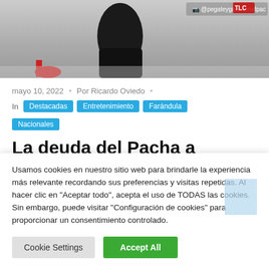[Figure (photo): Cropped photo showing person's legs/shoes jumping, with Instagram handle @pegateyganaconelpac overlaid at top right]
mayo 10, 2022  •  Por Ricardo Oviedo  •
In  Destacadas  Entretenimiento  Farándula  Nacionales
La deuda del Pacha a Teleradio América es de 750 mil pesos
Usamos cookies en nuestro sitio web para brindarle la experiencia más relevante recordando sus preferencias y visitas repetidas. Al hacer clic en "Aceptar todo", acepta el uso de TODAS las cookies. Sin embargo, puede visitar "Configuración de cookies" para proporcionar un consentimiento controlado.
Cookie Settings   Accept All